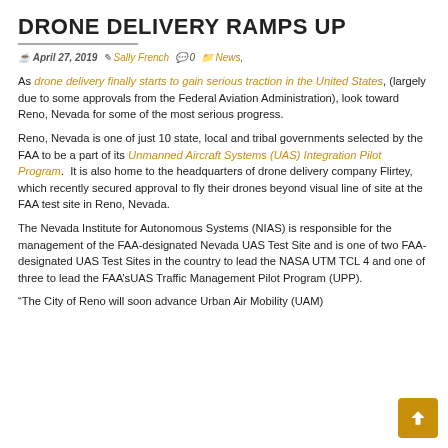DRONE DELIVERY RAMPS UP
April 27, 2019  Sally French  0  News,
As drone delivery finally starts to gain serious traction in the United States, (largely due to some approvals from the Federal Aviation Administration), look toward Reno, Nevada for some of the most serious progress.
Reno, Nevada is one of just 10 state, local and tribal governments selected by the FAA to be a part of its Unmanned Aircraft Systems (UAS) Integration Pilot Program.  It is also home to the headquarters of drone delivery company Flirtey, which recently secured approval to fly their drones beyond visual line of site at the FAA test site in Reno, Nevada.
The Nevada Institute for Autonomous Systems (NIAS) is responsible for the management of the FAA-designated Nevada UAS Test Site and is one of two FAA-designated UAS Test Sites in the country to lead the NASA UTM TCL 4 and one of three to lead the FAA’sUAS Traffic Management Pilot Program (UPP).
“The City of Reno will soon advance Urban Air Mobility (UAM)